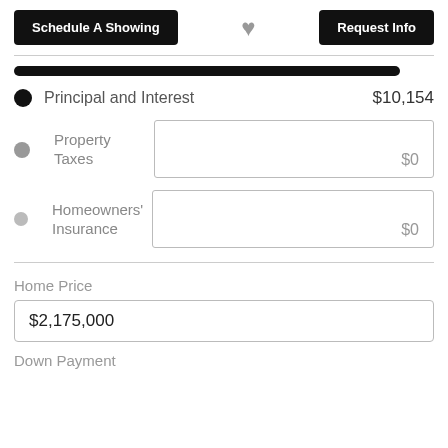Schedule A Showing
Request Info
Principal and Interest   $10,154
Property Taxes   $0
Homeowners' Insurance   $0
Home Price
$2,175,000
Down Payment